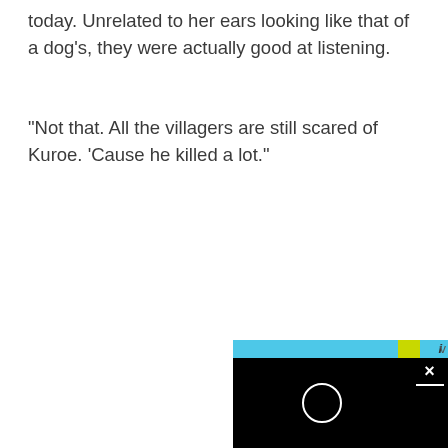today. Unrelated to her ears looking like that of a dog's, they were actually good at listening.
“Not that. All the villagers are still scared of Kuroe. ‘Cause he killed a lot.”
[Figure (screenshot): A video player overlay in the bottom-right corner showing a black video thumbnail with a white circle/loading indicator, a close button with X, and a blue bar at the top with partial UI elements.]